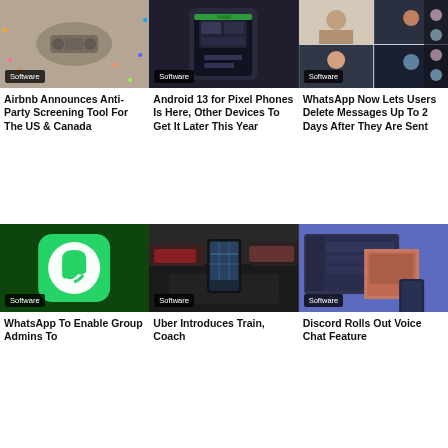[Figure (photo): Robot or device on confetti-covered ground, Software badge]
Airbnb Announces Anti-Party Screening Tool For The US & Canada
[Figure (photo): Dark smartphone screenshot, Software badge]
Android 13 for Pixel Phones Is Here, Other Devices To Get It Later This Year
[Figure (photo): Video call grid of faces, Software badge]
WhatsApp Now Lets Users Delete Messages Up To 2 Days After They Are Sent
[Figure (photo): WhatsApp green logo on dark background, Software badge]
WhatsApp To Enable Group Admins To
[Figure (photo): Smartphone in car mount with navigation app, Software badge]
Uber Introduces Train, Coach
[Figure (photo): Discord app on laptop and phone screens, Software badge]
Discord Rolls Out Voice Chat Feature